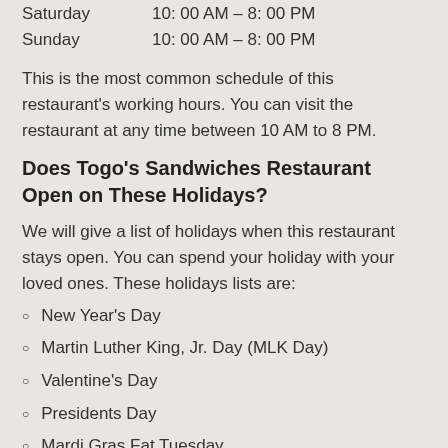Saturday    10: 00 AM – 8: 00 PM
Sunday      10: 00 AM – 8: 00 PM
This is the most common schedule of this restaurant's working hours. You can visit the restaurant at any time between 10 AM to 8 PM.
Does Togo's Sandwiches Restaurant Open on These Holidays?
We will give a list of holidays when this restaurant stays open. You can spend your holiday with your loved ones. These holidays lists are:
New Year's Day
Martin Luther King, Jr. Day (MLK Day)
Valentine's Day
Presidents Day
Mardi Gras Fat Tuesday